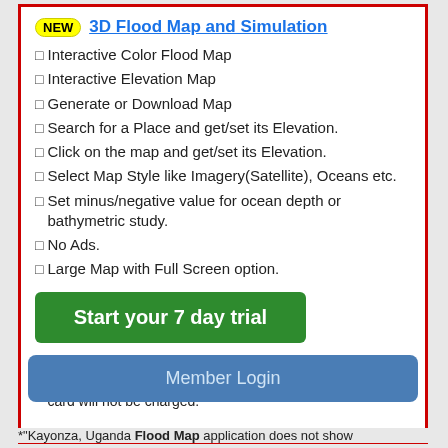NEW  3D Flood Map and Simulation
Interactive Color Flood Map
Interactive Elevation Map
Generate or Download Map
Search for a Place and get/set its Elevation.
Click on the map and get/set its Elevation.
Select Map Style like Imagery(Satellite), Oceans etc.
Set minus/negative value for ocean depth or bathymetric study.
No Ads.
Large Map with Full Screen option.
Start your 7 day trial
Your card will be charged after your 7 days trial ends. But if you cancel the plan before your 7 days trial ends, your card will not be charged.
Member Login
*"Kayonza, Uganda Flood Map application does not show